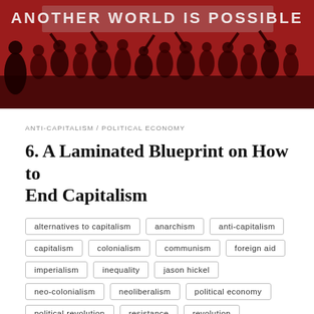[Figure (photo): Red-tinted black and white photograph of a protest crowd holding a banner reading 'ANOTHER WORLD IS POSSIBLE']
ANTI-CAPITALISM / POLITICAL ECONOMY
6. A Laminated Blueprint on How to End Capitalism
alternatives to capitalism
anarchism
anti-capitalism
capitalism
colonialism
communism
foreign aid
imperialism
inequality
jason hickel
neo-colonialism
neoliberalism
political economy
political revolution
resistance
revolution